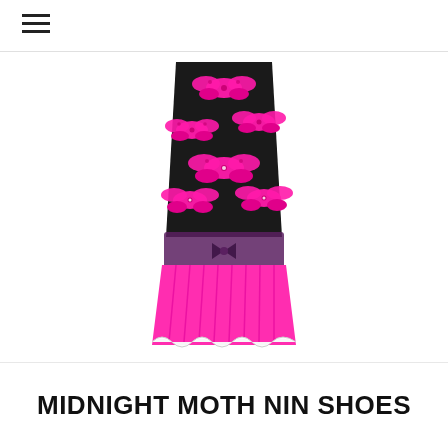[Figure (illustration): A fashion illustration of the Midnight Moth Nin Shoes item — a skirt/dress garment with a black top layer covered in large pink butterfly prints, a semi-transparent dark grey/purple waistband layer, and a bright hot-pink pleated skirt bottom with white scalloped hem trim.]
MIDNIGHT MOTH NIN SHOES